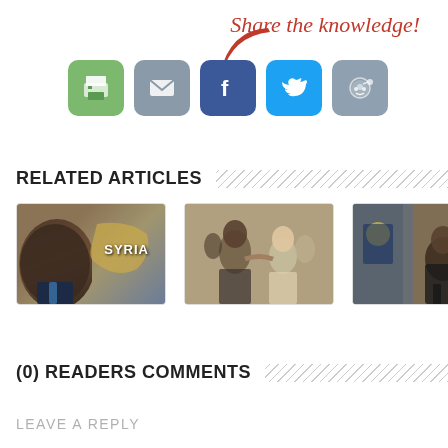[Figure (screenshot): Share the knowledge text with red arrow and social sharing buttons (print, email, Facebook, Twitter, Reddit)]
RELATED ARTICLES
[Figure (photo): Obama with Syria map overlay]
[Figure (photo): Two men shaking hands in military or official setting]
[Figure (photo): Official ceremony or diplomatic scene]
(0) READERS COMMENTS
LEAVE A REPLY